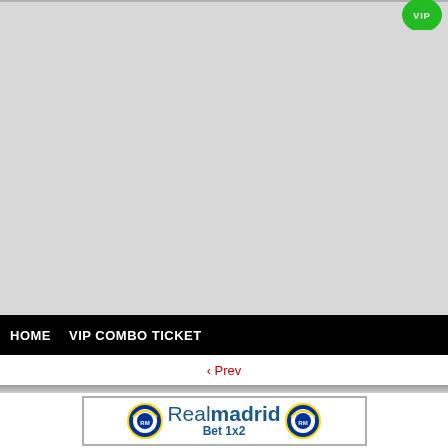[Figure (screenshot): Top navigation bar with gray background and green VIP badge in upper right corner]
[Figure (screenshot): Large gray empty content area]
HOME   VIP COMBO TICKET
‹ Prev
[Figure (logo): Real Madrid Bet 1x2 banner with two Real Madrid crest icons and blue text reading Realmadrid Bet 1x2]